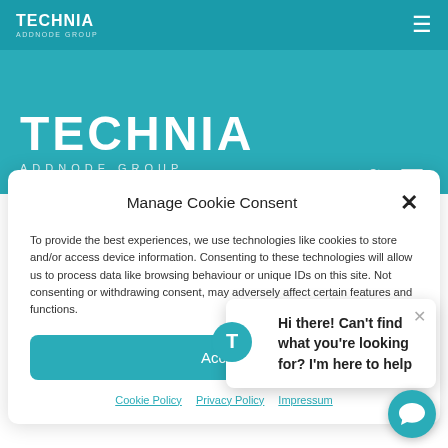[Figure (logo): TECHNIA Addnode Group navigation bar logo with hamburger menu icon on teal background]
[Figure (logo): Large TECHNIA ADDNODE GROUP logo on teal background with LinkedIn, Twitter, YouTube social icons]
Manage Cookie Consent
To provide the best experiences, we use technologies like cookies to store and/or access device information. Consenting to these technologies will allow us to process data like browsing behaviour or unique IDs on this site. Not consenting or withdrawing consent, may adversely affect certain features and functions.
[Figure (screenshot): Accept button (teal) and cookie policy links]
[Figure (infographic): Chat tooltip bubble: Hi there! Can't find what you're looking for? I'm here to help, with teal T icon and close X]
Cookie Policy   Privacy Policy   Impressum